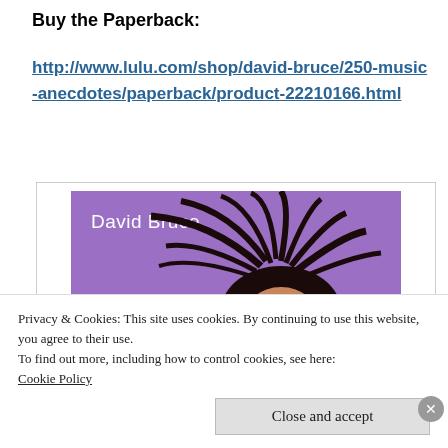Buy the Paperback:
http://www.lulu.com/shop/david-bruce/250-music-anecdotes/paperback/product-22210166.html
[Figure (photo): Purple-background photo of David Bruce with a person whose hair is flying wildly; text 'David Bruce' in white in upper left corner]
Privacy & Cookies: This site uses cookies. By continuing to use this website, you agree to their use.
To find out more, including how to control cookies, see here: Cookie Policy
Close and accept